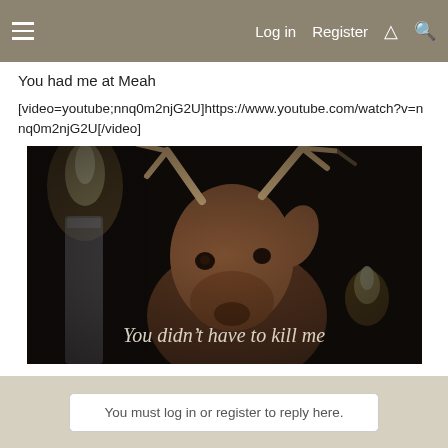Log in  Register
You had me at Meah
[video=youtube;nnq0m2njG2U]https://www.youtube.com/watch?v=nnq0m2njG2U[/video]
[Figure (screenshot): Video thumbnail showing a deer/reindeer taxidermy head with antlers lit by candlelight in a dark setting, with italic white text overlay reading 'You didn't have to kill me']
You must log in or register to reply here.